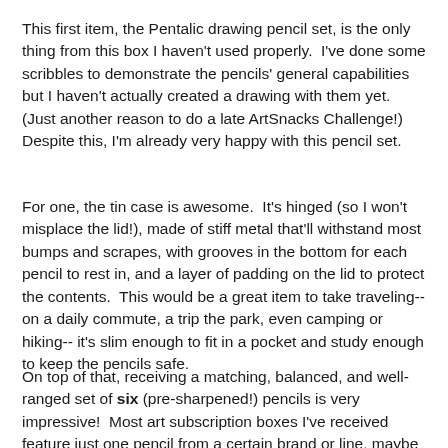This first item, the Pentalic drawing pencil set, is the only thing from this box I haven't used properly.  I've done some scribbles to demonstrate the pencils' general capabilities but I haven't actually created a drawing with them yet.  (Just another reason to do a late ArtSnacks Challenge!) Despite this, I'm already very happy with this pencil set.
For one, the tin case is awesome.  It's hinged (so I won't misplace the lid!), made of stiff metal that'll withstand most bumps and scrapes, with grooves in the bottom for each pencil to rest in, and a layer of padding on the lid to protect the contents.  This would be a great item to take traveling-- on a daily commute, a trip the park, even camping or hiking-- it's slim enough to fit in a pocket and study enough to keep the pencils safe.
On top of that, receiving a matching, balanced, and well-ranged set of six (pre-sharpened!) pencils is very impressive!  Most art subscription boxes I've received feature just one pencil from a certain brand or line, maybe two or three if they're colored or otherwise significantly different, but